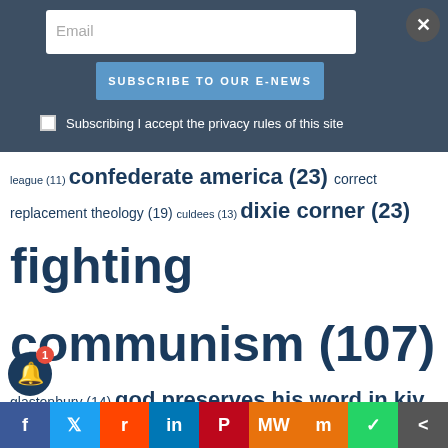Email
Subscribe to our E-News
Subscribing I accept the privacy rules of this site
league (11) confederate america (23) correct replacement theology (19) culdees (13) dixie corner (23) fighting communism (107) glastonbury (14) god preserves his word in kjv (17) gothia (11) house of brunswick (16) house of wolfenbuttel (13) israel (11) israel is the church (19) newsletter2622 (23) orthodox celtic church (18) orthodox church (39) orthodox church of the culdees (38) pdf download defending the king james bible (11) priory of salem (12) read book judahs sceptre josephs birthright (26) replacement theology (23) h tribes of israel (18) sabbath (20) sabbath orthodox